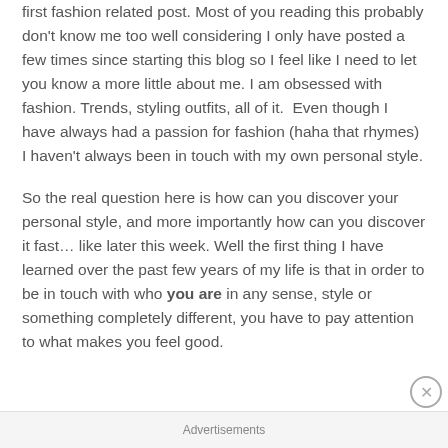first fashion related post. Most of you reading this probably don't know me too well considering I only have posted a few times since starting this blog so I feel like I need to let you know a more little about me. I am obsessed with fashion. Trends, styling outfits, all of it.  Even though I have always had a passion for fashion (haha that rhymes) I haven't always been in touch with my own personal style.
So the real question here is how can you discover your personal style, and more importantly how can you discover it fast… like later this week. Well the first thing I have learned over the past few years of my life is that in order to be in touch with who you are in any sense, style or something completely different, you have to pay attention to what makes you feel good. This…
Advertisements